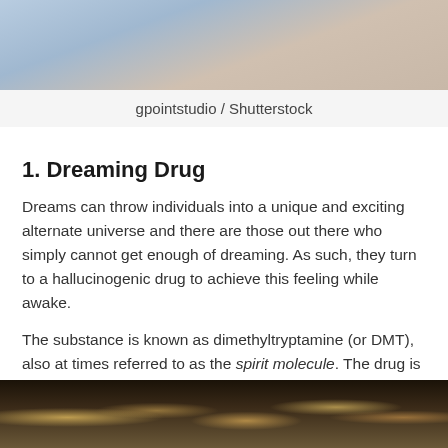[Figure (photo): Photo of a person sleeping or resting, partially visible, soft blue/warm tones]
gpointstudio / Shutterstock
1. Dreaming Drug
Dreams can throw individuals into a unique and exciting alternate universe and there are those out there who simply cannot get enough of dreaming. As such, they turn to a hallucinogenic drug to achieve this feeling while awake.
The substance is known as dimethyltryptamine (or DMT), also at times referred to as the spirit molecule. The drug is a synthetic formulation of the chemical that an individual's brain process organically while they are in a dreaming state.
[Figure (photo): Photo of colorful pills and capsules scattered on a surface]